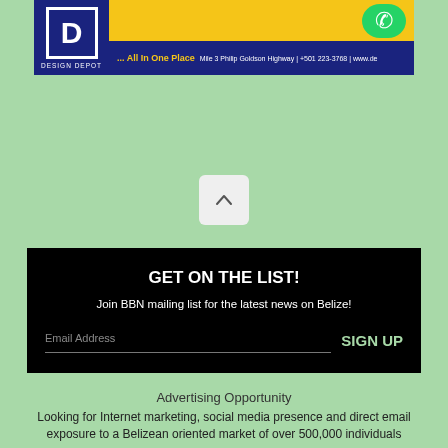[Figure (photo): Design Depot advertisement banner with yellow and navy blue background, WhatsApp icon, text reading '... All In One Place Mile 3 Philip Goldson Highway | +501 223-3768 | www.de']
[Figure (other): Scroll up chevron button, light gray rounded rectangle with upward caret arrow]
GET ON THE LIST!
Join BBN mailing list for the latest news on Belize!
Email Address
SIGN UP
Advertising Opportunity
Looking for Internet marketing, social media presence and direct email exposure to a Belizean oriented market of over 500,000 individuals